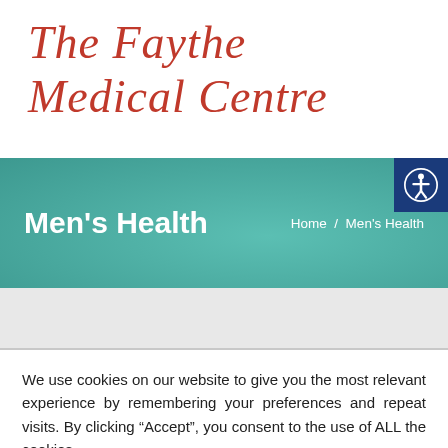The Faythe Medical Centre
Men's Health
Home / Men's Health
We use cookies on our website to give you the most relevant experience by remembering your preferences and repeat visits. By clicking “Accept”, you consent to the use of ALL the cookies.
Cookie settings
ACCEPT